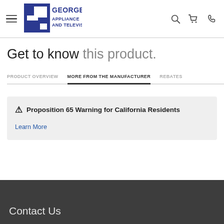[Figure (logo): George's Appliance and Television logo — blue block letter G with company name]
Get to know this product.
PRODUCT OVERVIEW | MORE FROM THE MANUFACTURER | REBATES
⚠ Proposition 65 Warning for California Residents
Learn More
Contact Us